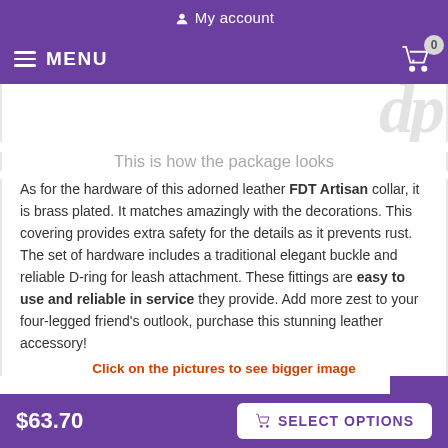My account
MENU  0
[Figure (illustration): Partial watermark/logo text visible in background]
This is how the package looks
As for the hardware of this adorned leather FDT Artisan collar, it is brass plated. It matches amazingly with the decorations. This covering provides extra safety for the details as it prevents rust. The set of hardware includes a traditional elegant buckle and reliable D-ring for leash attachment. These fittings are easy to use and reliable in service they provide. Add more zest to your four-legged friend's outlook, purchase this stunning leather accessory!
Click on the pictures to see bigger image
$63.70  SELECT OPTIONS